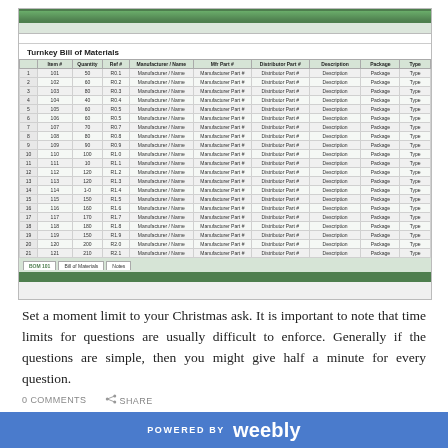[Figure (screenshot): Screenshot of a Microsoft Excel spreadsheet titled 'Turnkey Bill of Materials' with columns: Item #, Quantity, Ref #, Manufacturer / Name, Mfr Part #, Distributor Part #, Description, Package, Type. Contains approximately 25 rows of data with placeholder values like 'Manufacturer / Name', 'Manufacturer Part #', 'Distributor Part #', 'Description', 'Package', 'Type'. Tab bar at bottom shows multiple sheets.]
Set a moment limit to your Christmas ask. It is important to note that time limits for questions are usually difficult to enforce. Generally if the questions are simple, then you might give half a minute for every question.
0 COMMENTS   SHARE   POWERED BY weebly